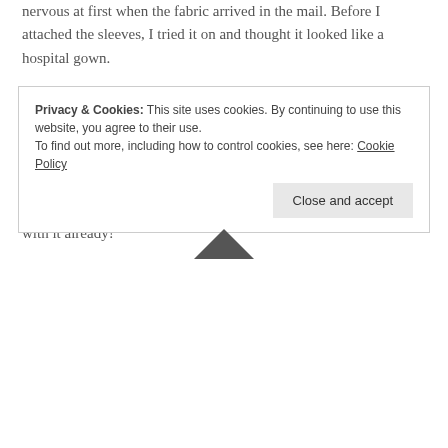nervous at first when the fabric arrived in the mail. Before I attached the sleeves, I tried it on and thought it looked like a hospital gown.
BUT, now that its finished I LOVE IT. The sleeves are wonderful. I french seamed the entire thing (even the sleeves!), and hemmed with thrifted lavender single fold bias tape. The neckband was a bit wonky to finish, but I added some lace tape to finish it off.
I think it will get softer with more washings, but I am really happy with it already!
Privacy & Cookies: This site uses cookies. By continuing to use this website, you agree to their use. To find out more, including how to control cookies, see here: Cookie Policy